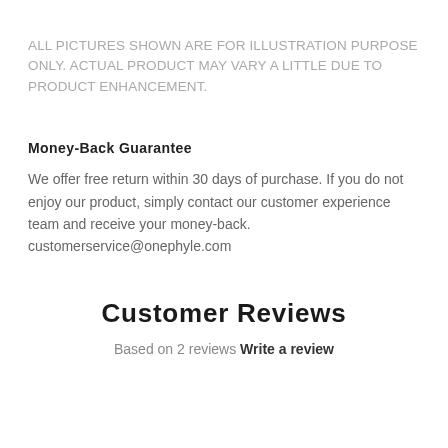ALL PICTURES SHOWN ARE FOR ILLUSTRATION PURPOSE ONLY. ACTUAL PRODUCT MAY VARY A LITTLE DUE TO PRODUCT ENHANCEMENT.
Money-Back Guarantee
We offer free return within 30 days of purchase. If you do not enjoy our product, simply contact our customer experience team and receive your money-back. customerservice@onephyle.com
Customer Reviews
Based on 2 reviews Write a review